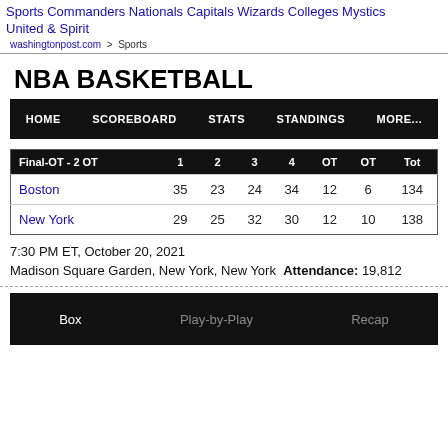Sports | Commanders | Nationals | Capitals | Wizards | Colleges | Mystics | United & Spirit
washingtonpost.com > Sports
NBA BASKETBALL
| Final-OT - 2 OT | 1 | 2 | 3 | 4 | OT | OT | Tot |
| --- | --- | --- | --- | --- | --- | --- | --- |
| Boston | 35 | 23 | 24 | 34 | 12 | 6 | 134 |
| New York | 29 | 25 | 32 | 30 | 12 | 10 | 138 |
7:30 PM ET, October 20, 2021
Madison Square Garden, New York, New York  Attendance: 19,812
Box  Play-by-Play  Recap